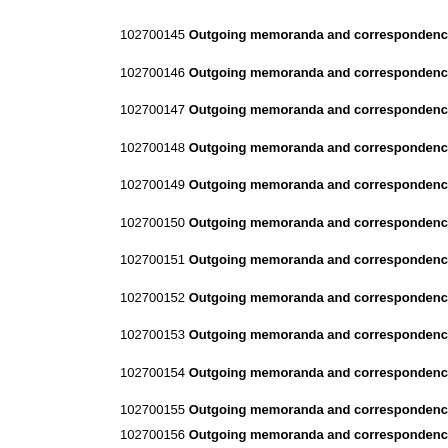102700145 Outgoing memoranda and correspondence 1992-
102700146 Outgoing memoranda and correspondence 1992-
102700147 Outgoing memoranda and correspondence 1992-
102700148 Outgoing memoranda and correspondence 1992-
102700149 Outgoing memoranda and correspondence 1992-
102700150 Outgoing memoranda and correspondence 1992-
102700151 Outgoing memoranda and correspondence 1992-
102700152 Outgoing memoranda and correspondence 1992-
102700153 Outgoing memoranda and correspondence 1992-
102700154 Outgoing memoranda and correspondence 1992-
102700155 Outgoing memoranda and correspondence 1992-
102700156 Outgoing memoranda and correspondence 1993-